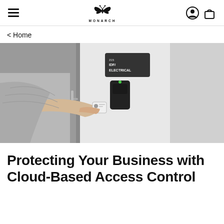MONARCH (navigation bar with hamburger menu, butterfly logo, user icon, and bag icon)
< Home
[Figure (photo): A woman in a grey sweater holds a key card up to a black electronic card reader mounted on a white wall next to a door. A dark sign on the wall reads '215 IDF/ ELECTRICAL'. The door has a silver handle.]
Protecting Your Business with Cloud-Based Access Control